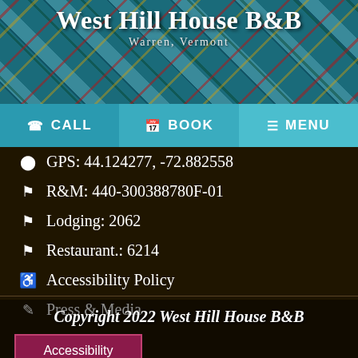West Hill House B&B
Warren, Vermont
GPS: 44.124277, -72.882558
R&M: 440-300388780F-01
Lodging: 2062
Restaurant.: 6214
Accessibility Policy
Press & Media
Copyright 2022 West Hill House B&B
Accessibility
Website & Marketing by Logan Marketing